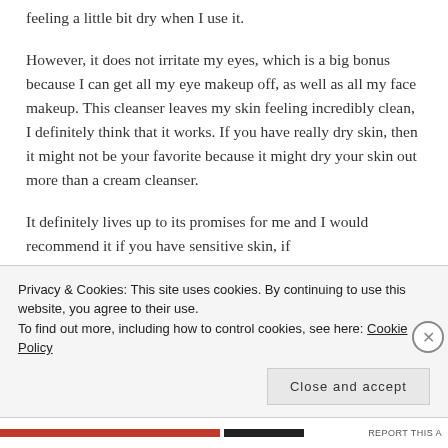feeling a little bit dry when I use it.
However, it does not irritate my eyes, which is a big bonus because I can get all my eye makeup off, as well as all my face makeup. This cleanser leaves my skin feeling incredibly clean, I definitely think that it works. If you have really dry skin, then it might not be your favorite because it might dry your skin out more than a cream cleanser.
It definitely lives up to its promises for me and I would recommend it if you have sensitive skin, if
Privacy & Cookies: This site uses cookies. By continuing to use this website, you agree to their use.
To find out more, including how to control cookies, see here: Cookie Policy
Close and accept